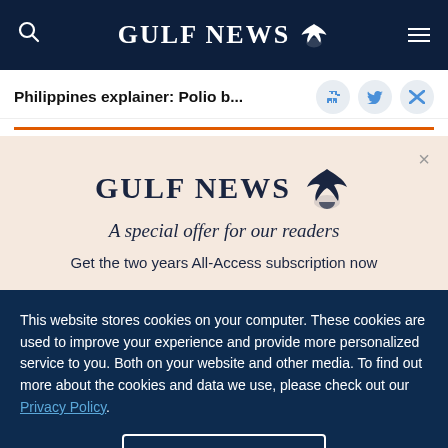GULF NEWS
Philippines explainer: Polio b...
What is the health authorities' response?
[Figure (logo): Gulf News logo with eagle emblem - promotional modal overlay on beige/cream background]
A special offer for our readers
Get the two years All-Access subscription now
This website stores cookies on your computer. These cookies are used to improve your experience and provide more personalized service to you. Both on your website and other media. To find out more about the cookies and data we use, please check out our Privacy Policy.
OK